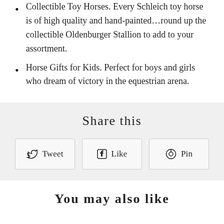Collectible Toy Horses. Every Schleich toy horse is of high quality and hand-painted…round up the collectible Oldenburger Stallion to add to your assortment.
Horse Gifts for Kids. Perfect for boys and girls who dream of victory in the equestrian arena.
Share this
Tweet  Like  Pin
You may also like